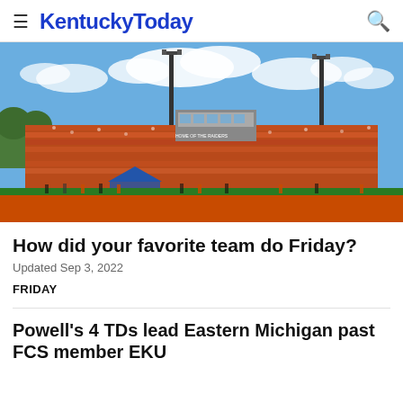≡  KentuckyToday  🔍
[Figure (photo): Outdoor football stadium filled with spectators wearing orange, with tall light poles against a partly cloudy blue sky. A press box reading 'Home of the Raiders' is visible in the stands. Blue tent on the field. Green grass and orange track visible at bottom.]
How did your favorite team do Friday?
Updated Sep 3, 2022
FRIDAY
Powell's 4 TDs lead Eastern Michigan past FCS member EKU